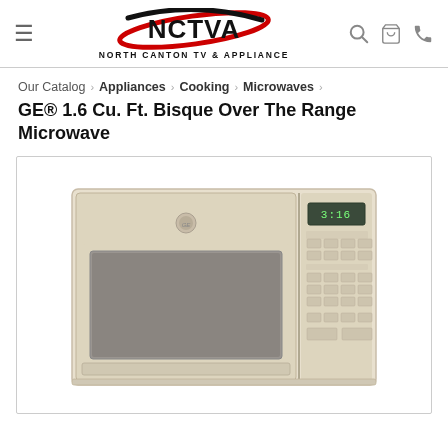NCTVA - North Canton TV & Appliance
Our Catalog › Appliances › Cooking › Microwaves ›
GE® 1.6 Cu. Ft. Bisque Over The Range Microwave
[Figure (photo): GE bisque/almond colored over-the-range microwave oven with door on left and control panel on right, shown in a white product photo]